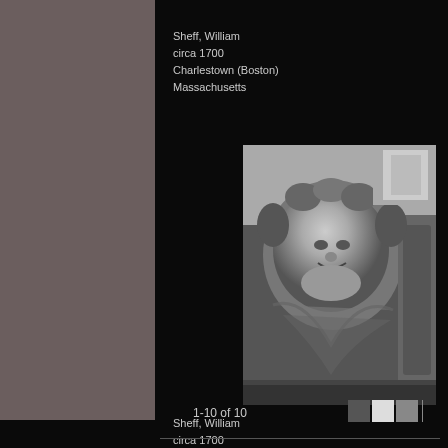Sheff, William
circa 1700
Charlestown (Boston)
Massachusetts
[Figure (photo): Black and white photograph of a carved gravestone face/angel figure with decorative stonework, circa 1700, from Charlestown (Boston), Massachusetts]
Sheff, William
circa 1700
Charlestown (Boston)
Massachusetts
1-10 of 10